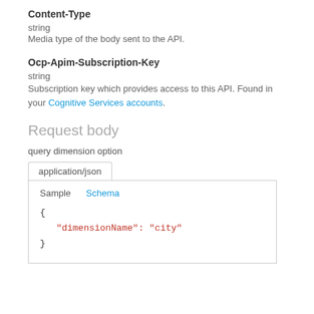Content-Type
string
Media type of the body sent to the API.
Ocp-Apim-Subscription-Key
string
Subscription key which provides access to this API. Found in your Cognitive Services accounts.
Request body
query dimension option
application/json
Sample   Schema
{
  "dimensionName": "city"
}